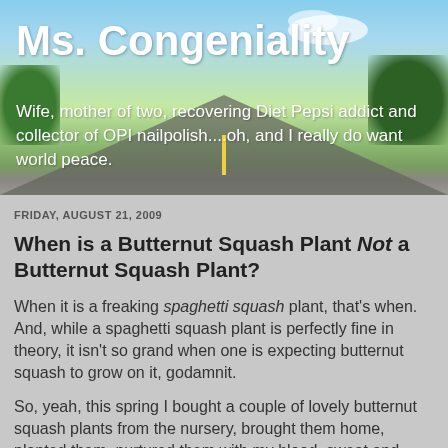[Figure (photo): Blog header banner showing a road stretching into the distance with green fields, trees, and blue sky with clouds]
Ms. Congeniality
Wife, mother of two, recovering Diet Pepsi addict and collector of OPI nailpolish....oh, and I really do want world peace.
FRIDAY, AUGUST 21, 2009
When is a Butternut Squash Plant Not a Butternut Squash Plant?
When it is a freaking spaghetti squash plant, that's when. And, while a spaghetti squash plant is perfectly fine in theory, it isn't so grand when one is expecting butternut squash to grow on it, godamnit.
So, yeah, this spring I bought a couple of lovely butternut squash plants from the nursery, brought them home, planted them, nurtured them with my blood, sweat and tears and